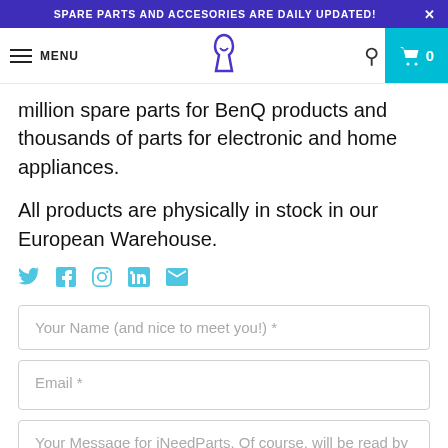SPARE PARTS AND ACCESORIES ARE DAILY UPDATED!
million spare parts for BenQ products and thousands of parts for electronic and home appliances.
All products are physically in stock in our European Warehouse.
[Figure (infographic): Social media icons: Twitter, Facebook, Pinterest, Instagram, LinkedIn, Email]
Your Name (and nice to meet you!) *
Email *
Your Message for iNeedParts. Of course, will be read by Human... *